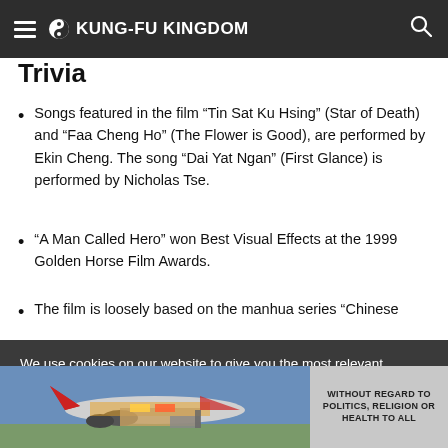KUNG-FU KINGDOM
Trivia
Songs featured in the film “Tin Sat Ku Hsing” (Star of Death) and “Faa Cheng Ho” (The Flower is Good), are performed by Ekin Cheng. The song “Dai Yat Ngan” (First Glance) is performed by Nicholas Tse.
“A Man Called Hero” won Best Visual Effects at the 1999 Golden Horse Film Awards.
The film is loosely based on the manhua series “Chinese
We use cookies on our website to give you the most relevant experience by remembering your preferences and repeat visits. By clicking “Accept”, you consent to the use of ALL the
[Figure (photo): Advertisement banner showing an airplane being loaded with cargo, with text 'WITHOUT REGARD TO POLITICS, RELIGION OR HEALTH TO ALL']